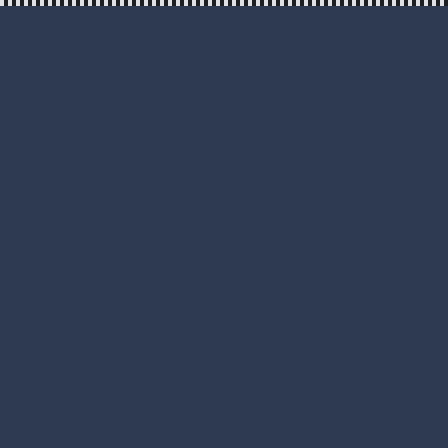[Figure (other): Solid dark navy blue background page with a faint repeating dashed or checkered pattern strip along the very top edge.]